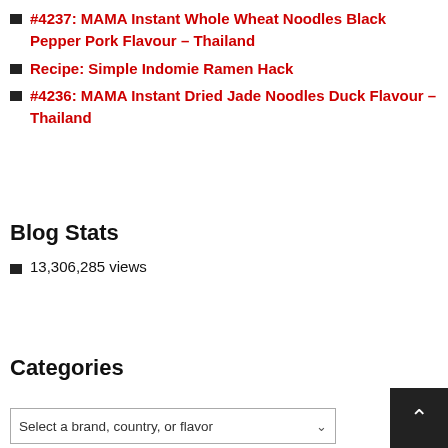#4237: MAMA Instant Whole Wheat Noodles Black Pepper Pork Flavour – Thailand
Recipe: Simple Indomie Ramen Hack
#4236: MAMA Instant Dried Jade Noodles Duck Flavour – Thailand
Blog Stats
13,306,285 views
Categories